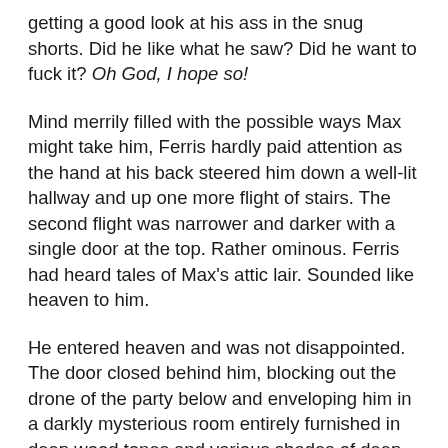getting a good look at his ass in the snug shorts. Did he like what he saw? Did he want to fuck it? Oh God, I hope so!
Mind merrily filled with the possible ways Max might take him, Ferris hardly paid attention as the hand at his back steered him down a well-lit hallway and up one more flight of stairs. The second flight was narrower and darker with a single door at the top. Rather ominous. Ferris had heard tales of Max's attic lair. Sounded like heaven to him.
He entered heaven and was not disappointed. The door closed behind him, blocking out the drone of the party below and enveloping him in a darkly mysterious room entirely furnished in deep wood tones and various shades of deep purple and dark green. He felt wickedly exposed in his stark white outfit as light that wasn't candlelight but was the same hue and tone settled over him.
A few steps into the room, he turned, aware that Max had